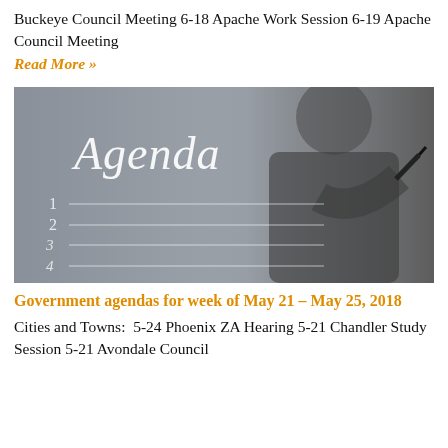Buckeye Council Meeting 6-18 Apache Work Session 6-19 Apache Council Meeting
Read More »
[Figure (photo): A person in a business suit writing 'Agenda' on a board with a numbered list (1-4) with blank lines, holding a pen. The image has a grey tone with cursive 'Agenda' text prominent.]
Government agendas for week of May 21 – May 25, 2018
Cities and Towns:  5-24 Phoenix ZA Hearing 5-21 Chandler Study Session 5-21 Avondale Council